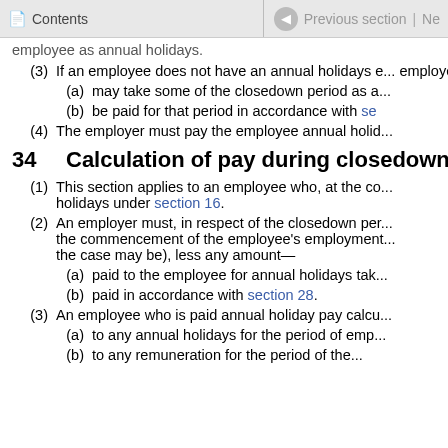Contents | Previous section | Next
employee as annual holidays.
(3) If an employee does not have an annual holidays e... employer and employee may agree that the employ...
(a) may take some of the closedown period as a...
(b) be paid for that period in accordance with se...
(4) The employer must pay the employee annual holid...
34 Calculation of pay during closedown pe...
(1) This section applies to an employee who, at the co... holidays under section 16.
(2) An employer must, in respect of the closedown pe... the commencement of the employee's employment... the case may be), less any amount—
(a) paid to the employee for annual holidays tak...
(b) paid in accordance with section 28.
(3) An employee who is paid annual holiday pay calcu...
(a) to any annual holidays for the period of emp...
(b) to any remuneration for the period of the...